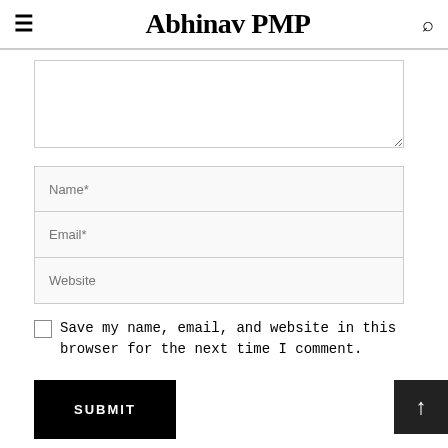Abhinav PMP
[Figure (screenshot): A textarea input box (comment field), partially visible at the top of the content area]
[Figure (screenshot): Form fields: Name*, Email*, Website input fields]
Save my name, email, and website in this browser for the next time I comment.
[Figure (screenshot): SUBMIT button (black background, white uppercase text)]
This site uses Akismet to reduce spam. Learn how your comment data is processed.